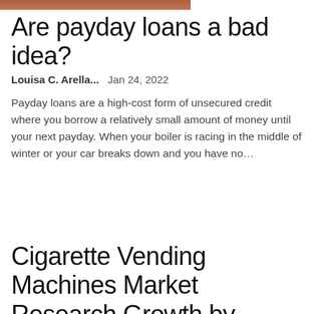[Figure (photo): Partial photo of a person, cropped at top of page]
Are payday loans a bad idea?
Louisa C. Arella...    Jan 24, 2022
Payday loans are a high-cost form of unsecured credit where you borrow a relatively small amount of money until your next payday. When your boiler is racing in the middle of winter or your car breaks down and you have no...
Cigarette Vending Machines Market Research Growth by